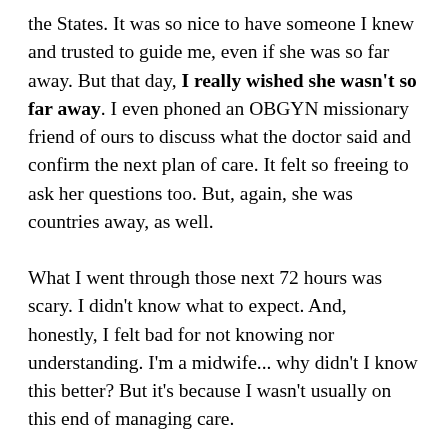the States. It was so nice to have someone I knew and trusted to guide me, even if she was so far away. But that day, I really wished she wasn't so far away. I even phoned an OBGYN missionary friend of ours to discuss what the doctor said and confirm the next plan of care. It felt so freeing to ask her questions too. But, again, she was countries away, as well.
What I went through those next 72 hours was scary. I didn't know what to expect. And, honestly, I felt bad for not knowing nor understanding. I'm a midwife... why didn't I know this better? But it's because I wasn't usually on this end of managing care.
But, now? Now, I know. What I wanted right then was a midwife to midwife me through this miscarriage. It felt like an unassisted homebirth